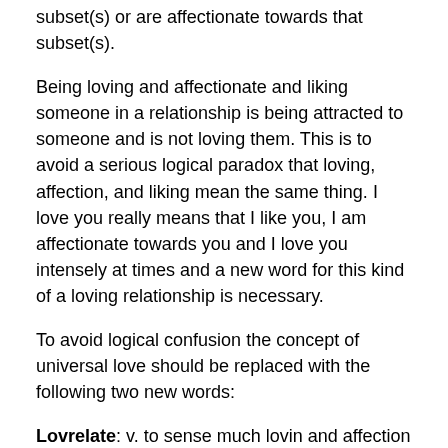subset(s) or are affectionate towards that subset(s).
Being loving and affectionate and liking someone in a relationship is being attracted to someone and is not loving them. This is to avoid a serious logical paradox that loving, affection, and liking mean the same thing. I love you really means that I like you, I am affectionate towards you and I love you intensely at times and a new word for this kind of a loving relationship is necessary.
To avoid logical confusion the concept of universal love should be replaced with the following two new words:
Lovrelate: v. to sense much lovin and affection and liking for a subset(s) but not simultaneously
Lovrelationship: n. sensing much lovin and affection and liking for a subset(s) but not simultaneously